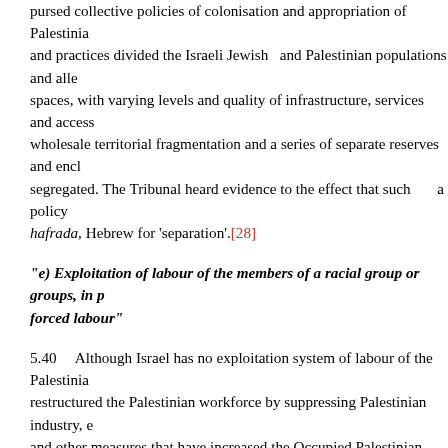pursed collective policies of colonisation and appropriation of Palestinian lands and practices divided the Israeli Jewish and Palestinian populations and allocated spaces, with varying levels and quality of infrastructure, services and access, wholesale territorial fragmentation and a series of separate reserves and enclaves, segregated. The Tribunal heard evidence to the effect that such a policy hafrada, Hebrew for 'separation'.[28]
"e) Exploitation of labour of the members of a racial group or groups, in particular by submitting them to forced labour"
5.40 Although Israel has no exploitation system of labour of the Palestinian people, it has restructured the Palestinian workforce by suppressing Palestinian industry, economic development and other measures that have increased the Occupied Palestinian Territory's dependency – more than ever before – on international aid. Until the mid-1980s, Israel integrated Palestinian work connected to agriculture and construction, with appalling employment conditions relative to benefits enjoyed by Israeli Jewish workers. But since 1993, the number of Palestinian workers has plummeted from over 100,000 to just a few hundred. And since the construction of the Wall, hardly any Palestinian workers employed in Israel. Since Hamas won the January 2006 elections, no workers from this area whatsoever have access to Israel.[29]
"f) Persecution of organisations and persons, by depriving them of fundamental rights and freedoms, because they oppose apartheid"
5.41 Israel persecutes and imposes restrictions on those who oppose the